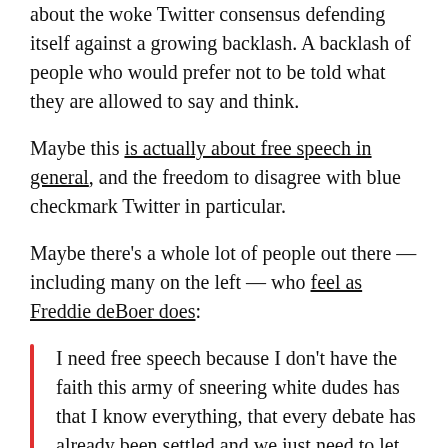about the woke Twitter consensus defending itself against a growing backlash. A backlash of people who would prefer not to be told what they are allowed to say and think.
Maybe this is actually about free speech in general, and the freedom to disagree with blue checkmark Twitter in particular.
Maybe there's a whole lot of people out there — including many on the left — who feel as Freddie deBoer does:
I need free speech because I don't have the faith this army of sneering white dudes has that I know everything, that every debate has already been settled and we just need to let the goodies rule over the baddies. I don't think everything is obvious. I don't